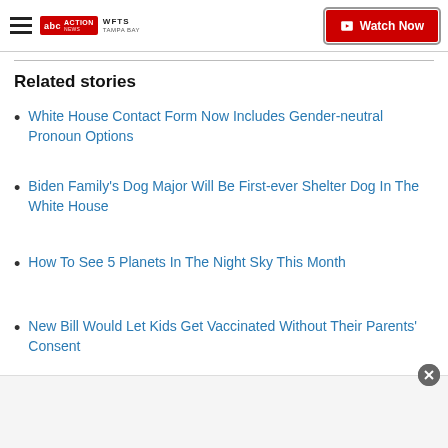WFTS Tampa Bay ABC Action News — Watch Now
Related stories
White House Contact Form Now Includes Gender-neutral Pronoun Options
Biden Family's Dog Major Will Be First-ever Shelter Dog In The White House
How To See 5 Planets In The Night Sky This Month
New Bill Would Let Kids Get Vaccinated Without Their Parents' Consent